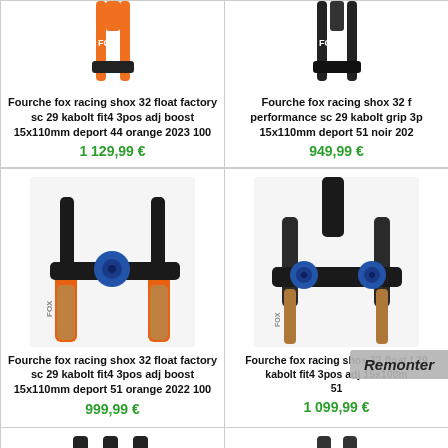[Figure (photo): Orange FOX fork product photo, partially visible at top]
Fourche fox racing shox 32 float factory sc 29 kabolt fit4 3pos adj boost 15x110mm deport 44 orange 2023 100
1 129,99 €
[Figure (photo): Black FOX fork product photo, partially visible at top]
Fourche fox racing shox 32 f performance sc 29 kabolt grip 3p 15x110mm deport 51 noir 202
949,99 €
[Figure (photo): Close-up of orange and black FOX fork crown with blue adjustment knob]
Fourche fox racing shox 32 float factory sc 29 kabolt fit4 3pos adj boost 15x110mm deport 51 orange 2022 100
999,99 €
[Figure (photo): Close-up of black FOX fork crown with blue adjustment knobs]
Fourche fox racing shox 32 float f 29 kabolt fit4 3pos adj 15x100m 51
1 099,99 €
[Figure (photo): Partial bottom product image, left column]
[Figure (photo): Partial bottom product image, right column]